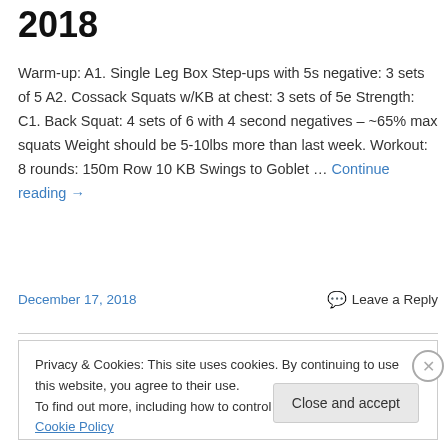2018
Warm-up: A1. Single Leg Box Step-ups with 5s negative: 3 sets of 5 A2. Cossack Squats w/KB at chest: 3 sets of 5e Strength: C1. Back Squat: 4 sets of 6 with 4 second negatives – ~65% max squats Weight should be 5-10lbs more than last week. Workout: 8 rounds: 150m Row 10 KB Swings to Goblet … Continue reading →
December 17, 2018    Leave a Reply
Privacy & Cookies: This site uses cookies. By continuing to use this website, you agree to their use. To find out more, including how to control cookies, see here: Cookie Policy
Close and accept